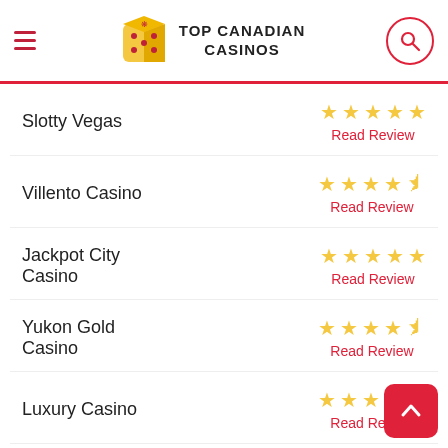TOP CANADIAN CASINOS
Slotty Vegas — 5 stars — Read Review
Villento Casino — 4.5 stars — Read Review
Jackpot City Casino — 5 stars — Read Review
Yukon Gold Casino — 4.5 stars — Read Review
Luxury Casino — 4.5 stars — Read Review
Zodiac Casino — 4 stars — Read Review